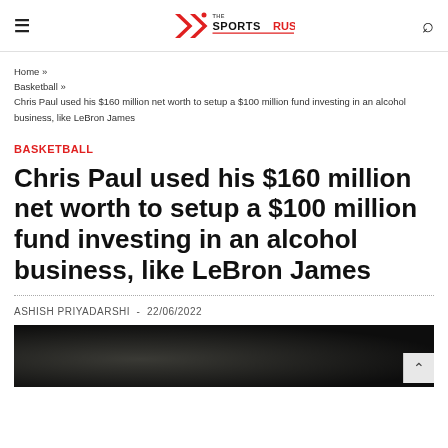The Sports Rush — site header with navigation hamburger menu, logo, and search icon
Home » Basketball » Chris Paul used his $160 million net worth to setup a $100 million fund investing in an alcohol business, like LeBron James
BASKETBALL
Chris Paul used his $160 million net worth to setup a $100 million fund investing in an alcohol business, like LeBron James
ASHISH PRIYADARSHI  -  22/06/2022
[Figure (photo): Dark/low-light photograph at the bottom of the page, partially visible]